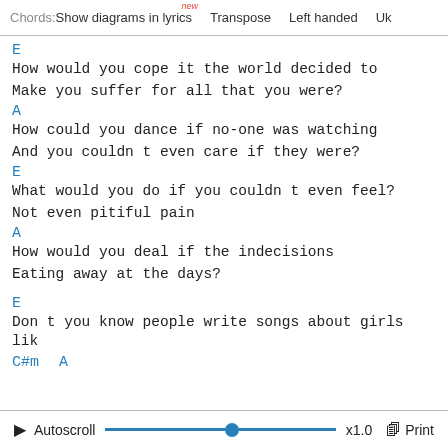Chords:  Show diagrams in lyrics  Transpose  Left handed  Uk
E
How would you cope it the world decided to

Make you suffer for all that you were?
A
How could you dance if no-one was watching

And you couldn’t even care if they were?
E
What would you do if you couldn’t even feel?

Not even pitiful pain
A
How would you deal if the indecisions

Eating away at the days?

E
Don’t you know people write songs about girls lik
C#m  A
Autoscroll  x1.0  Print